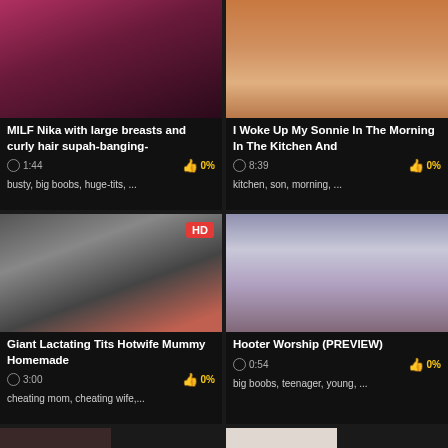[Figure (screenshot): Thumbnail image for adult video - dark pink/red tones]
MILF Nika with large breasts and curly hair supah-banging-
1:44  0%
busty, big boobs, huge-tits, ...
[Figure (screenshot): Thumbnail image for adult video - light skin tones, white background]
I Woke Up My Sonnie In The Morning In The Kitchen And
8:39  0%
kitchen, son, morning, ...
[Figure (screenshot): Thumbnail image for adult video - HD badge, PeekHoldi.com watermark]
Giant Lactating Tits Hotwife Mummy Homemade
3:00  0%
cheating mom, cheating wife,...
[Figure (screenshot): Thumbnail image for adult video - blonde, purple background]
Hooter Worship (PREVIEW)
0:54  0%
big boobs, teenager, young, ...